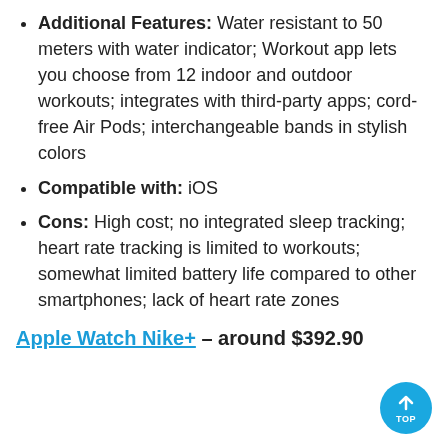Additional Features: Water resistant to 50 meters with water indicator; Workout app lets you choose from 12 indoor and outdoor workouts; integrates with third-party apps; cord-free Air Pods; interchangeable bands in stylish colors
Compatible with: iOS
Cons: High cost; no integrated sleep tracking; heart rate tracking is limited to workouts; somewhat limited battery life compared to other smartphones; lack of heart rate zones
Apple Watch Nike+ – around $392.90